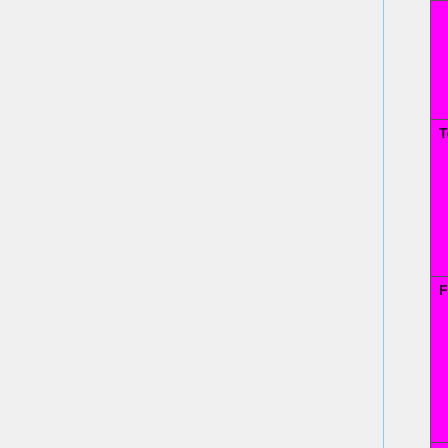| Feature | Status |
| --- | --- |
|  | No=red | WIP=orange Untested=yellow | N/A=lightgray yellow }}" | N/ |
| Touchpad | OK=lime | TODO=red | No=red | WIP=orange Untested=yellow | N/A=lightgra yellow }}" | N/ |
| Fn Hotkeys | OK=lime | TODO=red | No=red | WIP=orange Untested=yellow | N/A=lightgra yellow }}" | N/ |
| Fingerprint Reader | OK=lime | TODO=red | No=red | WIP=orange |